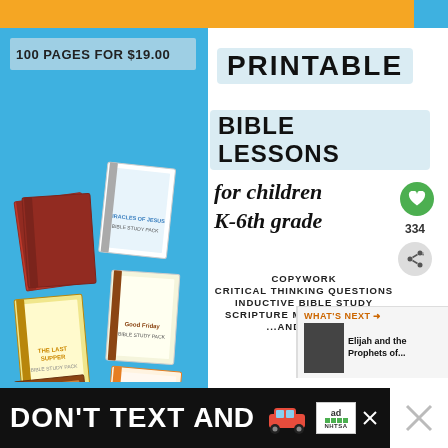[Figure (infographic): Advertisement screenshot for Printable Bible Lessons for children K-6th grade. Shows spiral-bound Bible study pack books on blue background. Price: 100 pages for $19.00. Features: Copywork, Critical Thinking Questions, Inductive Bible Study, Scripture Memory Cards, and more.]
100 PAGES FOR $19.00
PRINTABLE BIBLE LESSONS for children K-6th grade
COPYWORK
CRITICAL THINKING QUESTIONS
INDUCTIVE BIBLE STUDY
SCRIPTURE MEMORY CARDS
...AND MORE!
334
WHAT'S NEXT → Elijah and the Prophets of...
DON'T TEXT AND